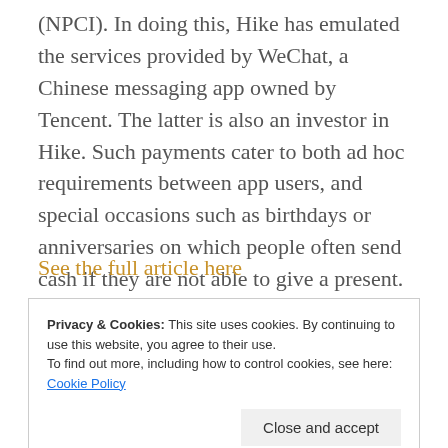(NPCI). In doing this, Hike has emulated the services provided by WeChat, a Chinese messaging app owned by Tencent. The latter is also an investor in Hike. Such payments cater to both ad hoc requirements between app users, and special occasions such as birthdays or anniversaries on which people often send cash if they are not able to give a present.
See the full article here
Privacy & Cookies: This site uses cookies. By continuing to use this website, you agree to their use.
To find out more, including how to control cookies, see here: Cookie Policy
Close and accept
Payments Platform for International Students